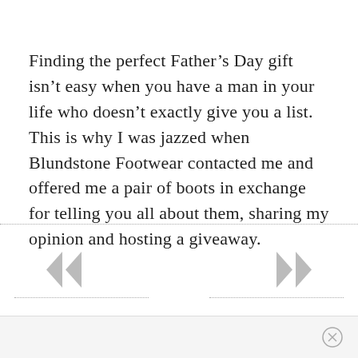Finding the perfect Father's Day gift isn't easy when you have a man in your life who doesn't exactly give you a list. This is why I was jazzed when Blundstone Footwear contacted me and offered me a pair of boots in exchange for telling you all about them, sharing my opinion and hosting a giveaway.